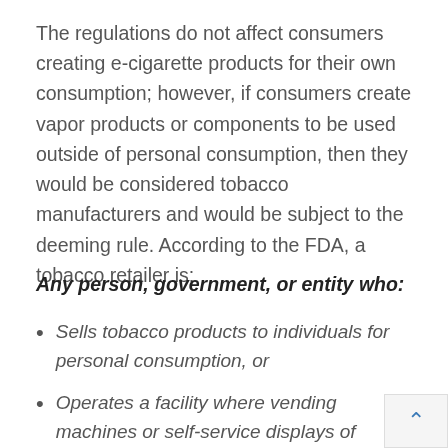The regulations do not affect consumers creating e-cigarette products for their own consumption; however, if consumers create vapor products or components to be used outside of personal consumption, then they would be considered tobacco manufacturers and would be subject to the deeming rule. According to the FDA, a tobacco retailer is:
Any person, government, or entity who:
Sells tobacco products to individuals for personal consumption, or
Operates a facility where vending machines or self-service displays of tobacco products are permitted. Retailers include brick and mortar